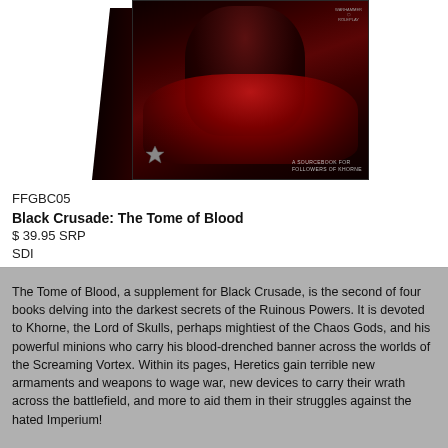[Figure (photo): Product image of Black Crusade: The Tome of Blood book/box, showing dark fantasy artwork with a figure in red and dark armor on the cover, spine visible on the left side]
FFGBC05
Black Crusade: The Tome of Blood
$ 39.95 SRP
SDI
The Tome of Blood, a supplement for Black Crusade, is the second of four books delving into the darkest secrets of the Ruinous Powers. It is devoted to Khorne, the Lord of Skulls, perhaps mightiest of the Chaos Gods, and his powerful minions who carry his blood-drenched banner across the worlds of the Screaming Vortex. Within its pages, Heretics gain terrible new armaments and weapons to wage war, new devices to carry their wrath across the battlefield, and more to aid them in their struggles against the hated Imperium!